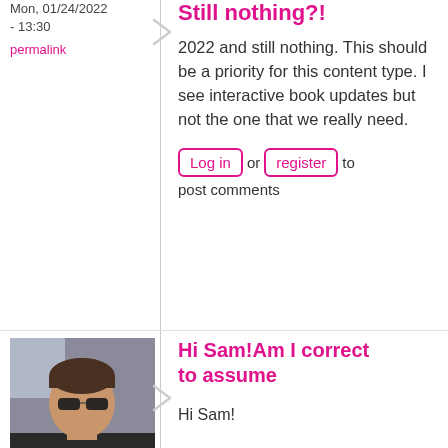Mon, 01/24/2022 - 13:30
permalink
Still nothing?!
2022 and still nothing. This should be a priority for this content type. I see interactive book updates but not the one that we really need.
Log in or register to post comments
[Figure (photo): Profile photo of user otacke: man wearing sunglasses, dark jacket]
otacke
Mon, 01/24/2022 - 15:41
Hi Sam!Am I correct to assume
Hi Sam!